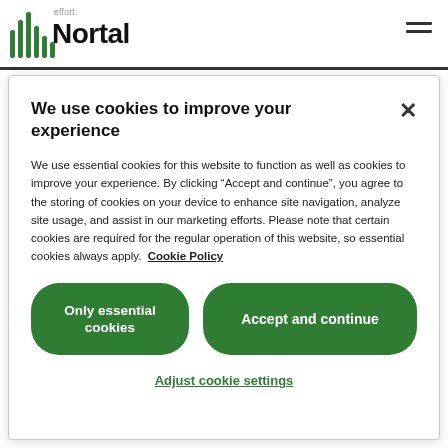[Figure (logo): Nortal logo with green vertical bars and 'Nortal' text in bold, plus small 'effort' text above]
We use cookies to improve your experience
We use essential cookies for this website to function as well as cookies to improve your experience. By clicking “Accept and continue”, you agree to the storing of cookies on your device to enhance site navigation, analyze site usage, and assist in our marketing efforts. Please note that certain cookies are required for the regular operation of this website, so essential cookies always apply.  Cookie Policy
Only essential cookies
Accept and continue
Adjust cookie settings